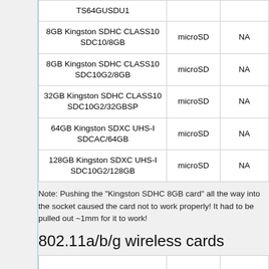| Name | Type | Status |
| --- | --- | --- |
| TS64GUSDU1 |  |  |
| 8GB Kingston SDHC CLASS10 SDC10/8GB | microSD | NA |
| 8GB Kingston SDHC CLASS10 SDC10G2/8GB | microSD | NA |
| 32GB Kingston SDHC CLASS10 SDC10G2/32GBSP | microSD | NA |
| 64GB Kingston SDXC UHS-I SDCAC/64GB | microSD | NA |
| 128GB Kingston SDXC UHS-I SDC10G2/128GB | microSD | NA |
Note: Pushing the "Kingston SDHC 8GB card" all the way into the socket caused the card not to work properly! It had to be pulled out ~1mm for it to work!
802.11a/b/g wireless cards
|  |